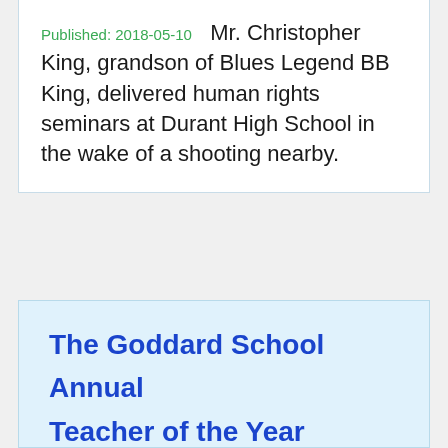Published: 2018-05-10   Mr. Christopher King, grandson of Blues Legend BB King, delivered human rights seminars at Durant High School in the wake of a shooting nearby.
The Goddard School Annual Teacher of the Year Awards Honor Six Remarkable Early Childhood Educators